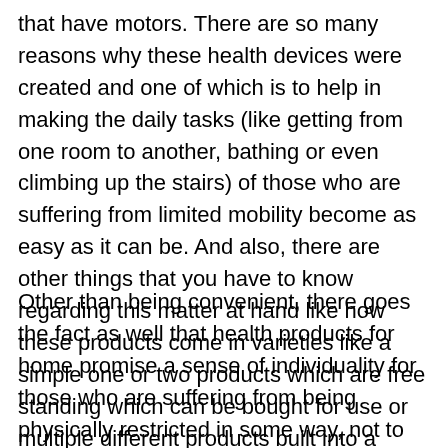that have motors. There are so many reasons why these health devices were created and one of which is to help in making the daily tasks (like getting from one room to another, bathing or even climbing up the stairs) of those who are suffering from limited mobility become as easy as it can be. And also, there are other things that you have to know regarding this matter at hand like how these products come in varieties like a simple one or two products which are free standing which can be bought for use or multiple different products built into a home to make the daily living of individuals with limited mobility become more convenient and a lot safer.
Other than being convenient, there goes the fact as well that health products for home promise a sense of individuality for those who are suffering from being physically restricted in some way, not to mention how it can also assist in-home health care givers in guaranteeing the safety of their patients. In some cases, the people who are usually making the most